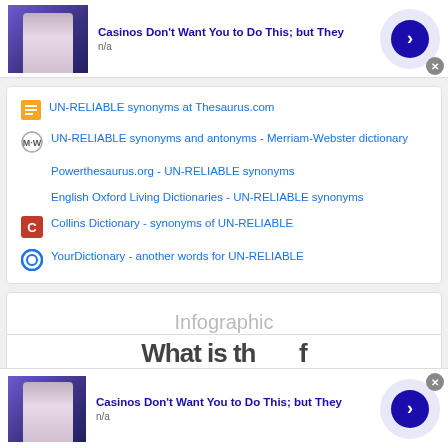[Figure (screenshot): Ad banner at top: person sitting, blue background. Title: Casinos Don't Want You to Do This; but They. Sub: n/a. Blue arrow button. Close X.]
UN-RELIABLE synonyms at Thesaurus.com
UN-RELIABLE synonyms and antonyms - Merriam-Webster dictionary
Powerthesaurus.org - UN-RELIABLE synonyms
English Oxford Living Dictionaries - UN-RELIABLE synonyms
Collins Dictionary - synonyms of UN-RELIABLE
YourDictionary - another words for UN-RELIABLE
Infographic
What is th... f (partially visible text)
[Figure (screenshot): Ad banner at bottom: same as top ad. Casinos Don't Want You to Do This; but They. Sub: n/a. Blue arrow button. Close X.]